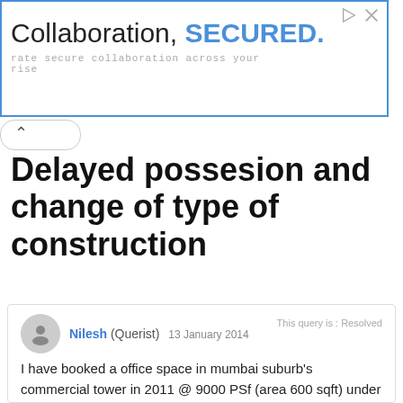[Figure (other): Advertisement banner: 'Collaboration, SECURED.' with subtitle 'rate secure collaboration across your rise']
Delayed possesion and change of type of construction
Nilesh (Querist) 13 January 2014
This query is : Resolved
I have booked a office space in mumbai suburb's commercial tower in 2011 @ 9000 PSf (area 600 sqft) under prelaunch offer. The progress has been very slow and almost to halt, now after 3 years, for some reason the builder is planning to change the building to residential. we already had paid 50 % of the amount @ prelaunch time. The sale agreement